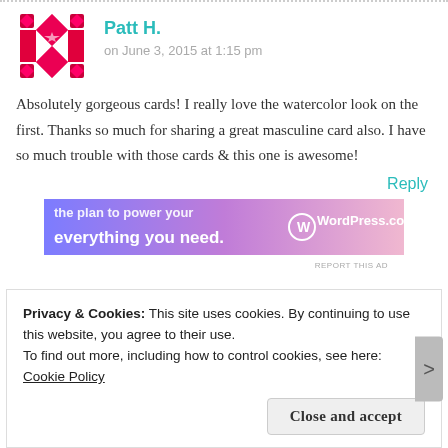Patt H.
on June 3, 2015 at 1:15 pm
Absolutely gorgeous cards! I really love the watercolor look on the first. Thanks so much for sharing a great masculine card also. I have so much trouble with those cards & this one is awesome!
Reply
[Figure (screenshot): WordPress.com advertisement banner showing 'everything you need.' with WordPress logo]
REPORT THIS AD
Privacy & Cookies: This site uses cookies. By continuing to use this website, you agree to their use.
To find out more, including how to control cookies, see here: Cookie Policy
Close and accept